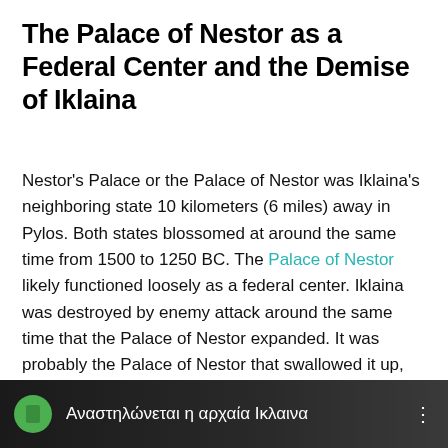The Palace of Nestor as a Federal Center and the Demise of Iklaina
Nestor's Palace or the Palace of Nestor was Iklaina's neighboring state 10 kilometers (6 miles) away in Pylos. Both states blossomed at around the same time from 1500 to 1250 BC. The Palace of Nestor likely functioned loosely as a federal center. Iklaina was destroyed by enemy attack around the same time that the Palace of Nestor expanded. It was probably the Palace of Nestor that swallowed it up, reducing it from an independent state in the federation to a mere manufacturing center.
[Figure (photo): Dark background image of an archaeological site with a green circular icon and Greek text caption reading 'Αναστηλώνεται η αρχαία Ικλαινα']